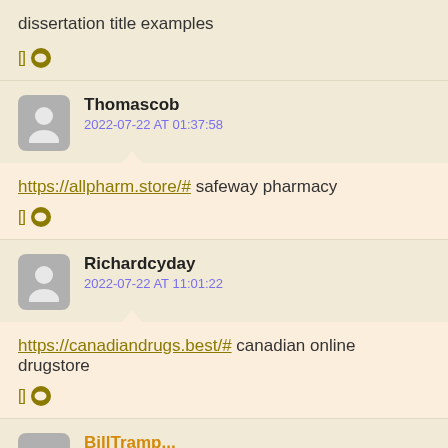dissertation title examples
[] ...
Thomascob
2022-07-22 AT 01:37:58
https://allpharm.store/# safeway pharmacy
[] ...
Richardcyday
2022-07-22 AT 11:01:22
https://canadiandrugs.best/# canadian online drugstore
[] ...
BillTramp...